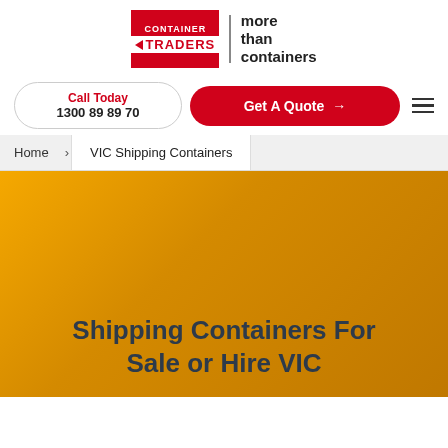[Figure (logo): Container Traders logo with red background, white text 'CONTAINER TRADERS' with left arrow, separated by vertical line from 'more than containers' tagline]
Call Today
1300 89 89 70
Get A Quote →
Home › VIC Shipping Containers
Shipping Containers For Sale or Hire VIC